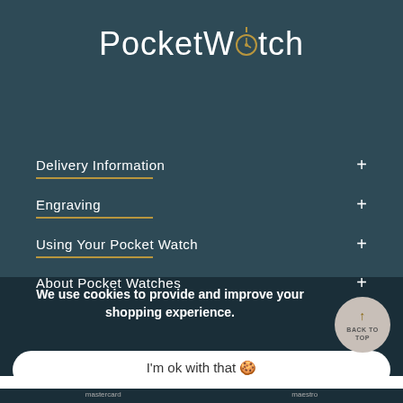PocketWatch
Delivery Information +
Engraving +
Using Your Pocket Watch +
About Pocket Watches +
Customer Services +
We use cookies to provide and improve your shopping experience.
I'm ok with that 🍪
mastercard   maestro